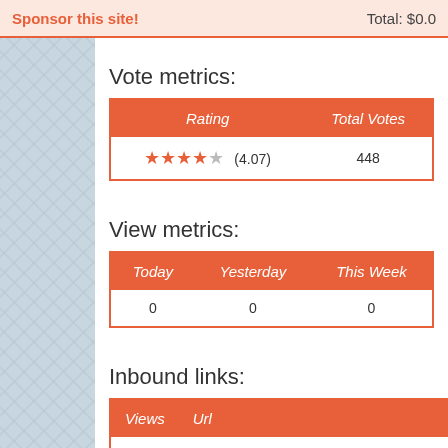Sponsor this site!  Total: $0.0
Vote metrics:
| Rating | Total Votes |
| --- | --- |
| ★★★★☆ (4.07) | 448 |
View metrics:
| Today | Yesterday | This Week |
| --- | --- | --- |
| 0 | 0 | 0 |
Inbound links:
| Views | Url |
| --- | --- |
| 28 | http://forums.hipinion.com/viewtopic.php?f=1&... |
| 25 | https://www.bing.com |
| 17 | http://... |